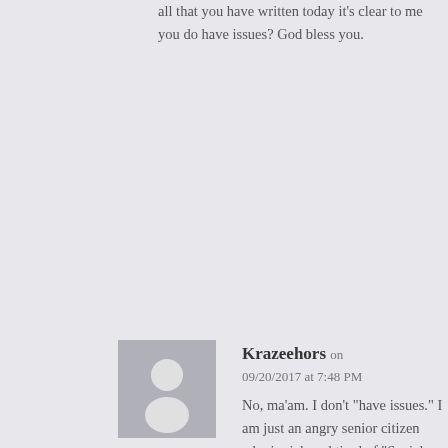all that you have written today it's clear to me you do have issues? God bless you.
[Figure (illustration): Generic user avatar: grey square background with a white silhouette of a person (circle head and rounded shoulders)]
Krazeehors on 09/20/2017 at 7:48 PM No, ma'am. I don't "have issues." I am just an angry senior citizen who is sick and tired of "Social Justice Warriors" and 20-something snowflakes bitching because life has been handed to them on a silver platter and now they have to actually earn